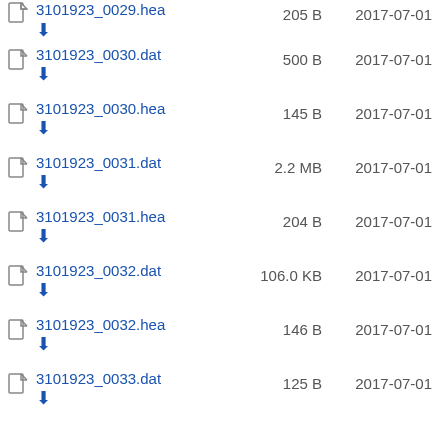3101923_0029.hea  205 B  2017-07-01
3101923_0030.dat  500 B  2017-07-01
3101923_0030.hea  145 B  2017-07-01
3101923_0031.dat  2.2 MB  2017-07-01
3101923_0031.hea  204 B  2017-07-01
3101923_0032.dat  106.0 KB  2017-07-01
3101923_0032.hea  146 B  2017-07-01
3101923_0033.dat  125 B  2017-07-01